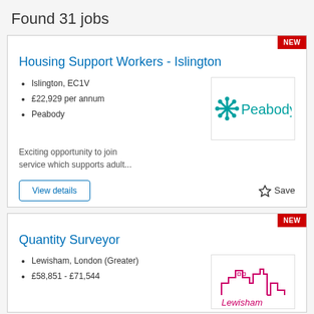Found 31 jobs
Housing Support Workers - Islington
Islington, EC1V
£22,929 per annum
Peabody
Exciting opportunity to join service which supports adult...
[Figure (logo): Peabody logo with teal snowflake icon and the word Peabody in teal]
Quantity Surveyor
Lewisham, London (Greater)
£58,851 - £71,544
[Figure (logo): Lewisham council logo in pink/magenta showing stylized buildings skyline with text Lewisham]